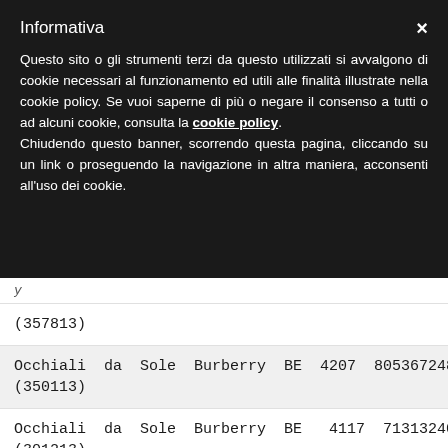Informativa
Questo sito o gli strumenti terzi da questo utilizzati si avvalgono di cookie necessari al funzionamento ed utili alle finalità illustrate nella cookie policy. Se vuoi saperne di più o negare il consenso a tutti o ad alcuni cookie, consulta la cookie policy. Chiudendo questo banner, scorrendo questa pagina, cliccando su un link o proseguendo la navigazione in altra maniera, acconsenti all'uso dei cookie.
(357813)
Occhiali da Sole Burberry BE 4207 8053672489330 (350113)
Occhiali da Sole Burberry BE 4117 713132405604 (301213)
Occhiali da Sole Burberry BE 4243 8053672712247 (36388H)